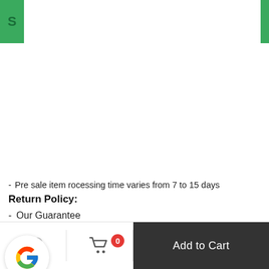S
Pre sale item rocessing time varies from 7 to 15 days
Return Policy:
Our Guarantee
[Figure (logo): Google logo badge (colored G) in a circular white card with shadow]
Add to Cart